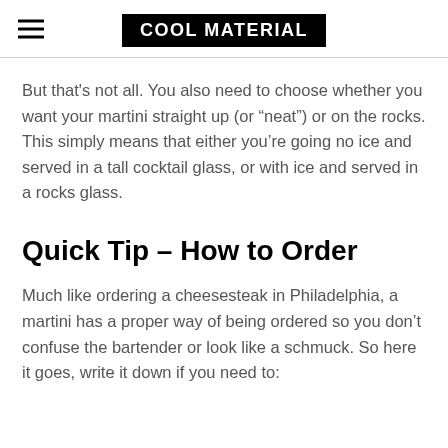COOL MATERIAL
But that's not all. You also need to choose whether you want your martini straight up (or “neat”) or on the rocks. This simply means that either you’re going no ice and served in a tall cocktail glass, or with ice and served in a rocks glass.
Quick Tip – How to Order
Much like ordering a cheesesteak in Philadelphia, a martini has a proper way of being ordered so you don’t confuse the bartender or look like a schmuck. So here it goes, write it down if you need to: